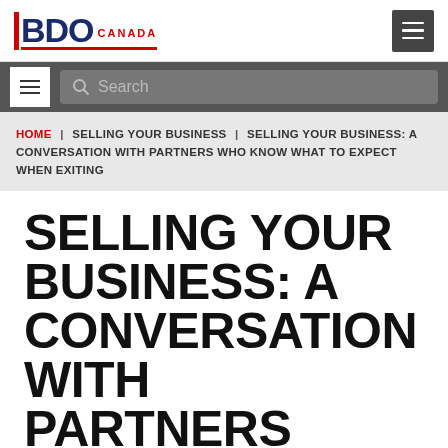BDO CANADA
Search
HOME | SELLING YOUR BUSINESS | SELLING YOUR BUSINESS: A CONVERSATION WITH PARTNERS WHO KNOW WHAT TO EXPECT WHEN EXITING
SELLING YOUR BUSINESS: A CONVERSATION WITH PARTNERS WHO KNOW WHAT TO EXPECT